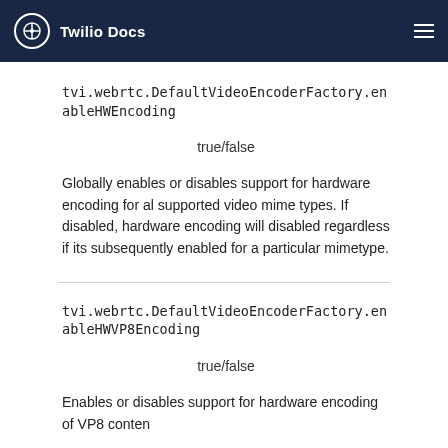Twilio Docs
tvi.webrtc.DefaultVideoEncoderFactory.enableHWEncoding
true/false
Globally enables or disables support for hardware encoding for al supported video mime types. If disabled, hardware encoding will disabled regardless if its subsequently enabled for a particular mimetype.
tvi.webrtc.DefaultVideoEncoderFactory.enableHWVP8Encoding
true/false
Enables or disables support for hardware encoding of VP8 conten